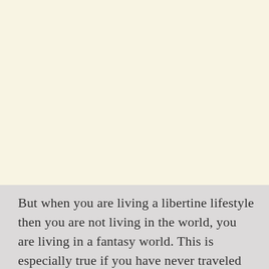But when you are living a libertine lifestyle then you are not living in the world, you are living in a fantasy world. This is especially true if you have never traveled the world. In reality, travelling does